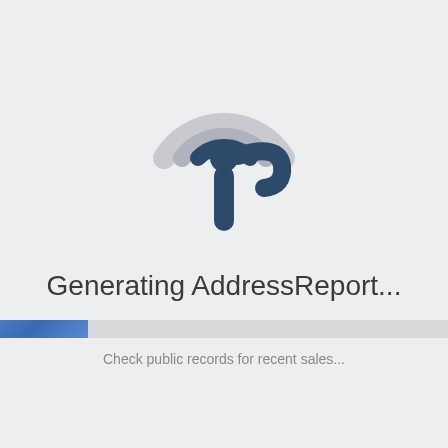[Figure (logo): A location/WiFi-style pin icon logo with concentric arcs in light gray and a dark navy blue inner shape resembling a map pin with signal waves, forming a stylized broadcast or location marker symbol.]
Generating AddressReport...
[Figure (other): A horizontal progress bar, partially filled with a blue gradient on the left side, against a light gray background.]
Check public records for recent sales...